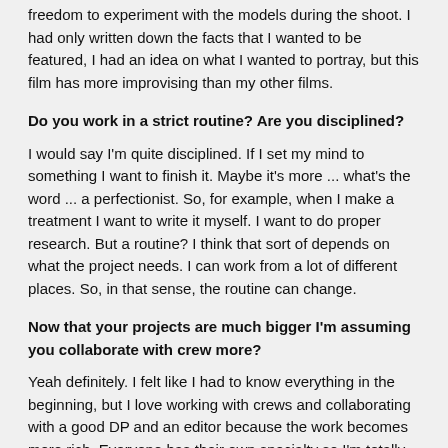freedom to experiment with the models during the shoot. I had only written down the facts that I wanted to be featured, I had an idea on what I wanted to portray, but this film has more improvising than my other films.
Do you work in a strict routine? Are you disciplined?
I would say I'm quite disciplined. If I set my mind to something I want to finish it. Maybe it's more ... what's the word ... a perfectionist. So, for example, when I make a treatment I want to write it myself. I want to do proper research. But a routine? I think that sort of depends on what the project needs. I can work from a lot of different places. So, in that sense, the routine can change.
Now that your projects are much bigger I'm assuming you collaborate with crew more?
Yeah definitely. I felt like I had to know everything in the beginning, but I love working with crews and collaborating with a good DP and an editor because the work becomes more rich. Everyone has their own specialty so I'm totally up for acknowledging everyone's specialty. But I'm happy that I do understand the editing process so...